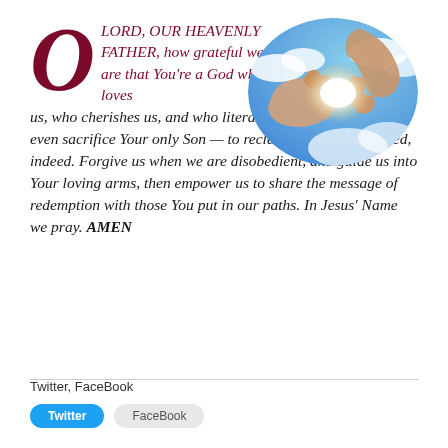O LORD, OUR HEAVENLY FATHER, how grateful we are that You're a God who loves us, who cherishes us, and who literally would do anything — even sacrifice Your only Son — to reclaim us. We are blessed, indeed. Forgive us when we are disobedient, and guide us into Your loving arms, then empower us to share the message of redemption with those You put in our paths. In Jesus' Name we pray. AMEN
[Figure (photo): Oval-cropped photo of two hands reaching toward each other with a bright light between them, blue sky and clouds in background]
Twitter, FaceBook